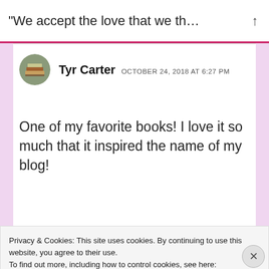“We accept the love that we th…
Tyr Carter  OCTOBER 24, 2018 AT 6:27 PM
One of my favorite books! I love it so much that it inspired the name of my blog!
Privacy & Cookies: This site uses cookies. By continuing to use this website, you agree to their use.
To find out more, including how to control cookies, see here:
Cookie Policy
Close and accept